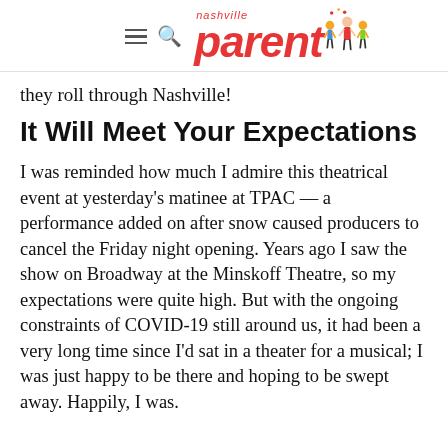nashville parent
they roll through Nashville!
It Will Meet Your Expectations
I was reminded how much I admire this theatrical event at yesterday's matinee at TPAC — a performance added on after snow caused producers to cancel the Friday night opening. Years ago I saw the show on Broadway at the Minskoff Theatre, so my expectations were quite high. But with the ongoing constraints of COVID-19 still around us, it had been a very long time since I'd sat in a theater for a musical; I was just happy to be there and hoping to be swept away. Happily, I was.